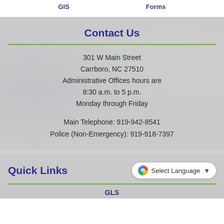GIS   Forms
Contact Us
301 W Main Street
Carrboro, NC 27510
Administrative Offices hours are
8:30 a.m. to 5 p.m.
Monday through Friday
Main Telephone: 919-942-8541
Police (Non-Emergency): 919-918-7397
Quick Links